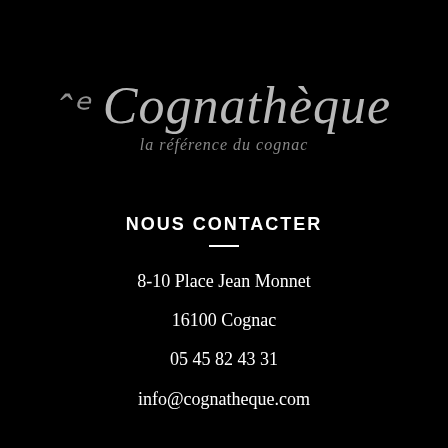[Figure (logo): La Cognathèque logo with italic script text and tagline 'la référence du cognac' on black background]
NOUS CONTACTER
8-10 Place Jean Monnet
16100 Cognac
05 45 82 43 31
info@cognatheque.com